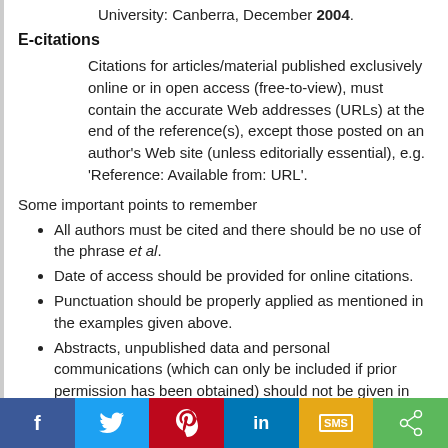University: Canberra, December 2004.
E-citations
Citations for articles/material published exclusively online or in open access (free-to-view), must contain the accurate Web addresses (URLs) at the end of the reference(s), except those posted on an author's Web site (unless editorially essential), e.g. ‘Reference: Available from: URL’.
Some important points to remember
All authors must be cited and there should be no use of the phrase et al.
Date of access should be provided for online citations.
Punctuation should be properly applied as mentioned in the examples given above.
Abstracts, unpublished data and personal communications (which can only be included if prior permission has been obtained) should not be given in the references section. The details may however appear in the footnotes.
The authors are encouraged to use a recent version of EndNote (version 5 and above) or Reference Manager (version 10) when formatting...